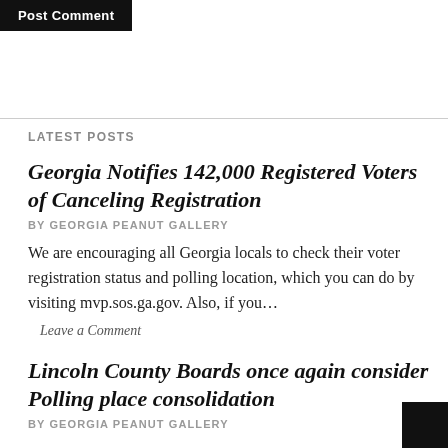[Figure (screenshot): Post Comment button, black background with white bold text]
LATEST POSTS
Georgia Notifies 142,000 Registered Voters of Canceling Registration
BY GEORGIA PEANUT GALLERY
We are encouraging all Georgia locals to check their voter registration status and polling location, which you can do by visiting mvp.sos.ga.gov. Also, if you…
Leave a Comment
Lincoln County Boards once again consider Polling place consolidation
BY GEORGIA PEANUT GALLERY